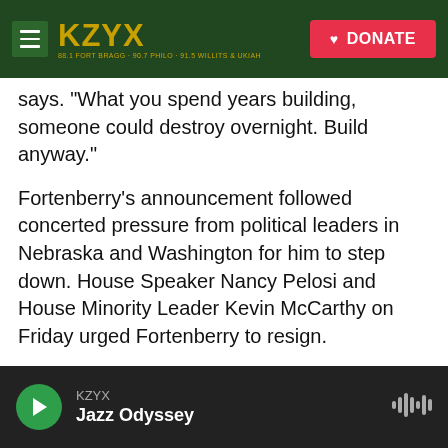KZYX | DONATE
says. "What you spend years building, someone could destroy overnight. Build anyway."
Fortenberry's announcement followed concerted pressure from political leaders in Nebraska and Washington for him to step down. House Speaker Nancy Pelosi and House Minority Leader Kevin McCarthy on Friday urged Fortenberry to resign.
Nebraska Republican Gov. Pete Ricketts said Fortenberry should "do the right thing for his constituents" and leave the office he has held since 2005.
KZYX | Jazz Odyssey